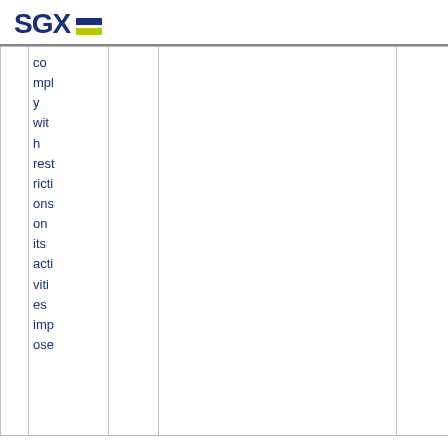SGX
|  | comply with restrictions on its activities impose |  |  |  |